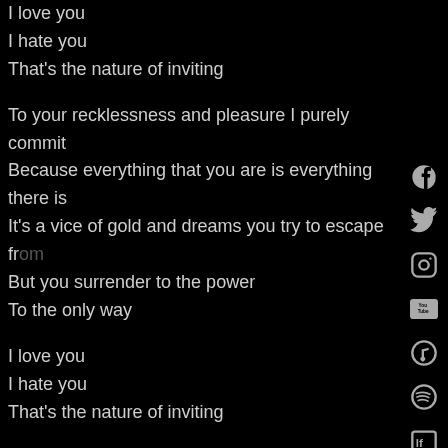I love you
I hate you
That's the nature of inviting
To your recklessness and pleasure I purely commit
Because everything that you are is everything there is
It's a vice of gold and dreams you try to escape from
But you surrender to the power
To the only way
I love you
I hate you
That's the nature of inviting
< Back To Kingdom of Welcome Addiction Album Page